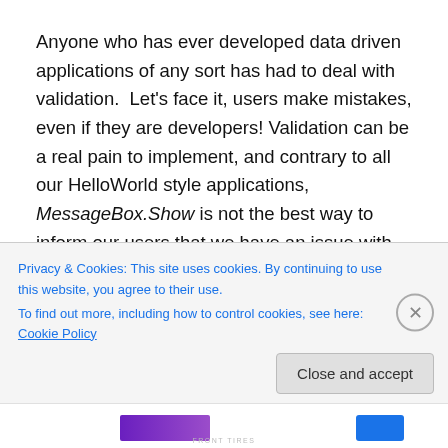Anyone who has ever developed data driven applications of any sort has had to deal with validation.  Let's face it, users make mistakes, even if they are developers! Validation can be a real pain to implement, and contrary to all our HelloWorld style applications, MessageBox.Show is not the best way to inform our users that we have an issue with their keyboarding skills.
I remember being ecstatic when I learned about the WinForms ErrorProvider. This handy little approach finally
Privacy & Cookies: This site uses cookies. By continuing to use this website, you agree to their use.
To find out more, including how to control cookies, see here: Cookie Policy